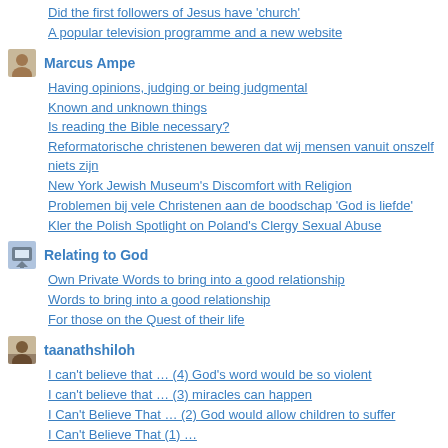Did the first followers of Jesus have 'church'
A popular television programme and a new website
Marcus Ampe
Having opinions, judging or being judgmental
Known and unknown things
Is reading the Bible necessary?
Reformatorische christenen beweren dat wij mensen vanuit onszelf niets zijn
New York Jewish Museum's Discomfort with Religion
Problemen bij vele Christenen aan de boodschap 'God is liefde'
Kler the Polish Spotlight on Poland's Clergy Sexual Abuse
Relating to God
Own Private Words to bring into a good relationship
Words to bring into a good relationship
For those on the Quest of their life
taanathshiloh
I can't believe that … (4) God's word would be so violent
I can't believe that … (3) miracles can happen
I Can't Believe That … (2) God would allow children to suffer
I Can't Believe That (1) …